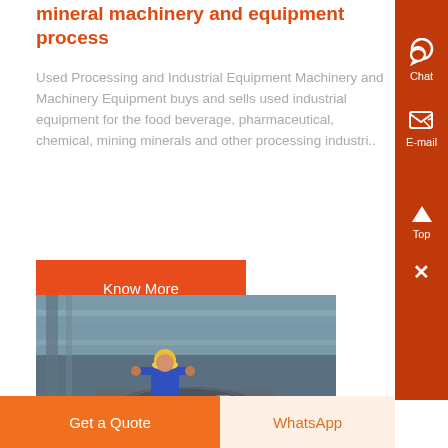mineral machinery and equipment process
Used Processing and Industrial Equipment Machinery and Machinery Equipment buys and sells used industrial equipment for the food beverage, pharmaceutical, chemical, mining minerals and other processing industri..
Know More
[Figure (photo): Worker in blue worksuit and yellow hard hat operating industrial mineral processing machinery in a factory setting]
Get a Quote
WhatsApp